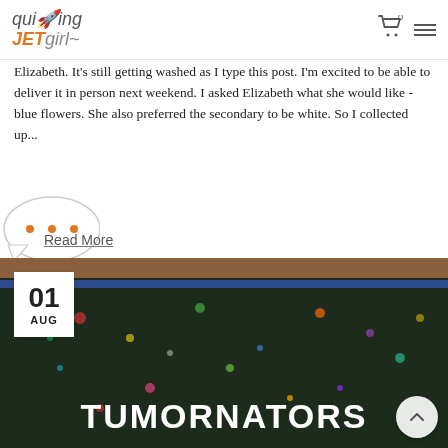quilting JETgirl
Elizabeth.  It's still getting washed as I type this post.  I'm excited to be able to deliver it in person next weekend. I asked Elizabeth what she would like - blue flowers.  She also preferred the secondary to be white.  So I collected up...
Read More
[Figure (photo): A dark quilted wall hanging or banner with the text TUMORNATORS spelled out in white letters, against a multicolored speckled dark background, displayed on a wooden surface with blue binding. A date badge shows 01 AUG in the upper left corner.]